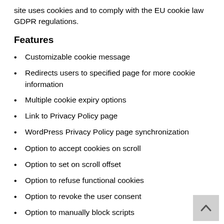site uses cookies and to comply with the EU cookie law GDPR regulations.
Features
Customizable cookie message
Redirects users to specified page for more cookie information
Multiple cookie expiry options
Link to Privacy Policy page
WordPress Privacy Policy page synchronization
Option to accept cookies on scroll
Option to set on scroll offset
Option to refuse functional cookies
Option to revoke the user consent
Option to manually block scripts
Option to reload the page after cookies are accepted
Select the position of the cookie message box